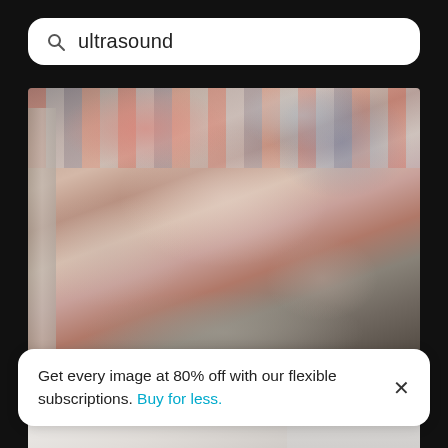ultrasound
[Figure (photo): Close-up photo of newborn babies swaddled in colorful pink, white, and patterned fabrics lying in a hospital bassinet drawer]
Close-up of sleeping on bed
[Figure (photo): Photo of a medical professional in a white coat performing or operating ultrasound equipment, cropped showing arm and white equipment panel]
Get every image at 80% off with our flexible subscriptions. Buy for less.